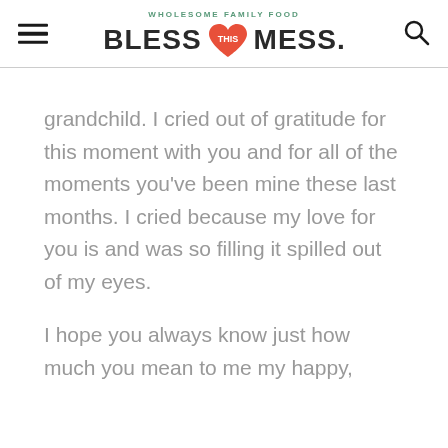WHOLESOME FAMILY FOOD | BLESS THIS MESS.
grandchild. I cried out of gratitude for this moment with you and for all of the moments you've been mine these last months. I cried because my love for you is and was so filling it spilled out of my eyes.
I hope you always know just how much you mean to me my happy,